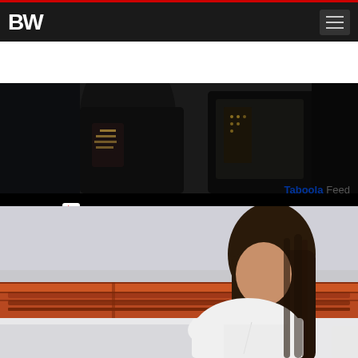BW
[Figure (screenshot): Video thumbnail showing two people in dark clothing with Watch on YouTube overlay bar]
[Figure (screenshot): Taboola feed label showing 'Taboola Feed' branding]
[Figure (photo): Photo of a woman with long dark hair wearing a white shirt, sitting near a wooden headboard bed]